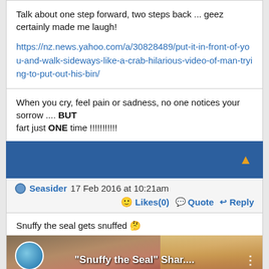Talk about one step forward, two steps back ... geez certainly made me laugh!
https://nz.news.yahoo.com/a/30828489/put-it-in-front-of-you-and-walk-sideways-like-a-crab-hilarious-video-of-man-trying-to-put-out-his-bin/
When you cry, feel pain or sadness, no one notices your sorrow .... BUT fart just ONE time !!!!!!!!!!
Seasider 17 Feb 2016 at 10:21am
Likes(0)  Quote  Reply
Snuffy the seal gets snuffed 🤔
[Figure (screenshot): Video thumbnail showing 'Snuffy the Seal' Shar.... with people in background and three-dot menu icon]